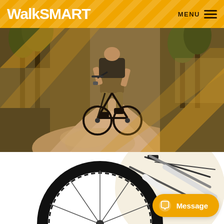WalkSMART | MENU
[Figure (photo): Mountain biker airborne on a dirt trail in a forest, jumping over a dirt mound, with golden diagonal stripe overlays on the image]
[Figure (photo): Close-up of a white bicycle with black tires and frame components, partially cropped, shown against a cream/beige circular background]
Message